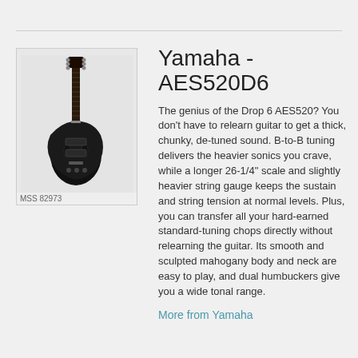[Figure (photo): Black Yamaha AES520D6 electric guitar on light background, with label MSS 82973 below]
Yamaha - AES520D6
The genius of the Drop 6 AES520? You don't have to relearn guitar to get a thick, chunky, de-tuned sound. B-to-B tuning delivers the heavier sonics you crave, while a longer 26-1/4" scale and slightly heavier string gauge keeps the sustain and string tension at normal levels. Plus, you can transfer all your hard-earned standard-tuning chops directly without relearning the guitar. Its smooth and sculpted mahogany body and neck are easy to play, and dual humbuckers give you a wide tonal range.
More from Yamaha